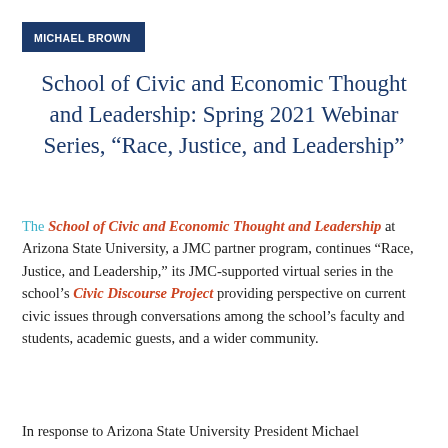MICHAEL BROWN
School of Civic and Economic Thought and Leadership: Spring 2021 Webinar Series, “Race, Justice, and Leadership”
The School of Civic and Economic Thought and Leadership at Arizona State University, a JMC partner program, continues “Race, Justice, and Leadership,” its JMC-supported virtual series in the school’s Civic Discourse Project providing perspective on current civic issues through conversations among the school’s faculty and students, academic guests, and a wider community.
In response to Arizona State University President Michael